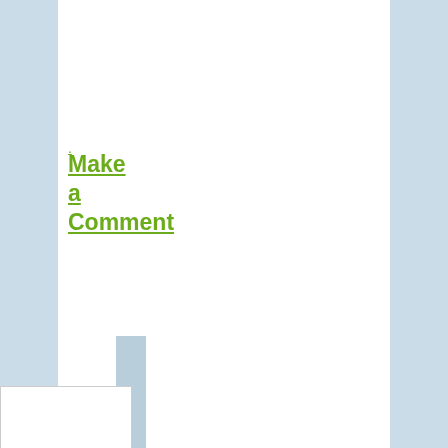.
Make a Comment
Leave a Reply
Your email address will not be published. Required